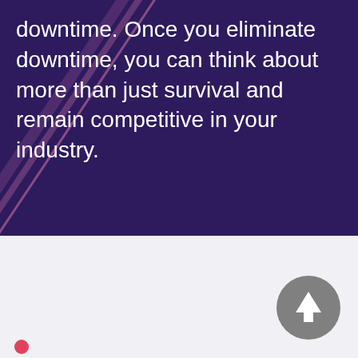[Figure (illustration): Dark purple background section with diagonal pink/magenta lines running from lower-left to upper-right]
downtime. Once you eliminate downtime, you can think about more than just survival and remain competitive in your industry.
[Figure (other): Light gray/lavender bottom section with a circular gray upload/up-arrow button on the right side, and a small pink/red circle at lower left]